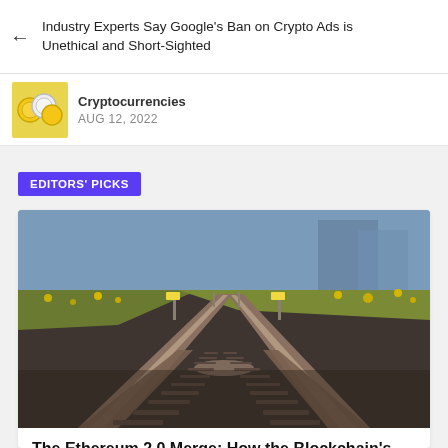Industry Experts Say Google's Ban on Crypto Ads is Unethical and Short-Sighted
Cryptocurrencies
AUG 12, 2022
EDITORS' PICKS
[Figure (photo): Railroad tracks splitting into two paths, perspective view with gravel, yellow wildflowers on the side, signal posts visible in the background]
The Ethereum 2.0 Merge: How the Blockchain's Two Paths Will Join